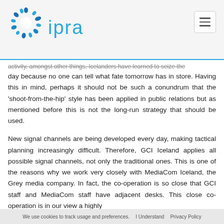[Figure (logo): IPRA logo: circular blue dot pattern resembling a sun/molecule, with the text 'ipra' in blue sans-serif to the right]
activity, amongst other things, Icelanders have learned to seize the day because no one can tell what fate tomorrow has in store. Having this in mind, perhaps it should not be such a conundrum that the 'shoot-from-the-hip' style has been applied in public relations but as mentioned before this is not the long-run strategy that should be used.
New signal channels are being developed every day, making tactical planning increasingly difficult. Therefore, GCI Iceland applies all possible signal channels, not only the traditional ones. This is one of the reasons why we work very closely with MediaCom Iceland, the Grey media company. In fact, the co-operation is so close that GCI staff and MediaCom staff have adjacent desks. This close co-operation is in our view a highly
We use cookies to track usage and preferences.   I Understand   Privacy Policy